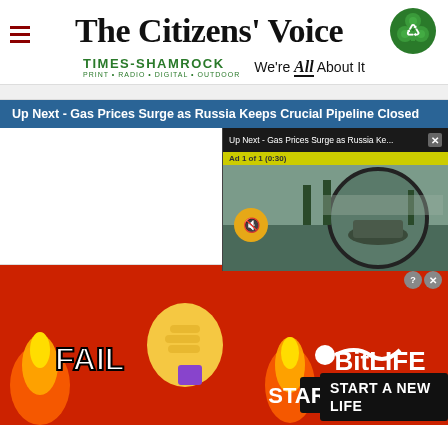The Citizens' Voice
[Figure (logo): Times-Shamrock newspaper group logo with shamrock icon and tagline 'We're All About It']
Up Next - Gas Prices Surge as Russia Keeps Crucial Pipeline Closed
[Figure (screenshot): Floating video player showing 'Up Next - Gas Prices Surge as Russia Ke...' with ad label 'Ad 1 of 1 (0:30)' and a muted button overlay on a circular scope video thumbnail]
[Figure (illustration): BitLife mobile game advertisement on red background with flame emojis, 'FAIL' text, facepalm emoji, and 'START A NEW LIFE' text]